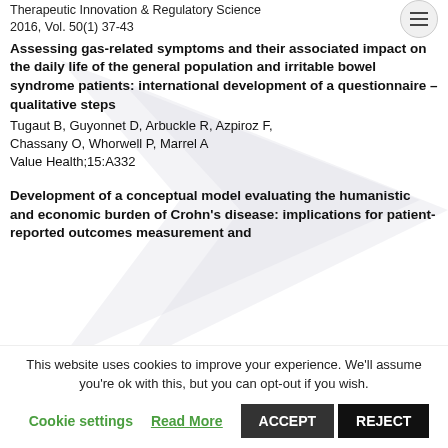Therapeutic Innovation & Regulatory Science 2016, Vol. 50(1) 37-43
Assessing gas-related symptoms and their associated impact on the daily life of the general population and irritable bowel syndrome patients: international development of a questionnaire – qualitative steps
Tugaut B, Guyonnet D, Arbuckle R, Azpiroz F, Chassany O, Whorwell P, Marrel A
Value Health;15:A332
Development of a conceptual model evaluating the humanistic and economic burden of Crohn's disease: implications for patient-reported outcomes measurement and
This website uses cookies to improve your experience. We'll assume you're ok with this, but you can opt-out if you wish.
Cookie settings  Read More  ACCEPT  REJECT